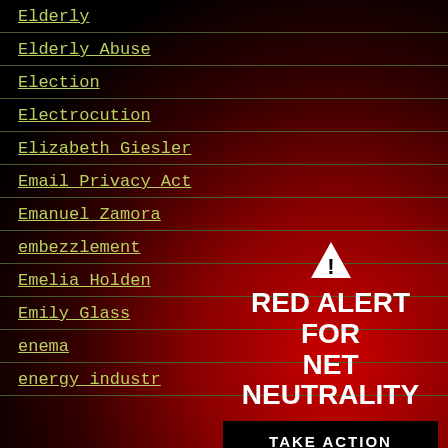Elderly
Elderly Abuse
Election
Electrocution
Elizabeth Giesler
Email Privacy Act
Emanuel Zamora
embezzlement
Emelia Holden
Emily Glass
enema
energy industr
[Figure (infographic): Red Alert for Net Neutrality banner with warning triangle icon, bold white text 'RED ALERT FOR NET NEUTRALITY', a black 'TAKE ACTION' button, and a 'CLOSE' link below]
CLOSE